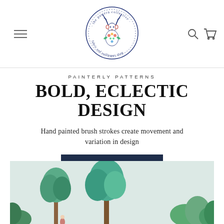[Figure (logo): The Pattern Collective fabric and wallpaper shop circular logo with floral deer illustration in blue, red and green]
PAINTERLY PATTERNS
BOLD, ECLECTIC DESIGN
Hand painted brush strokes create movement and variation in design
SHOP THE LOOK
[Figure (photo): Watercolor illustrated wallpaper showing green trees and tropical foliage on a light grey background]